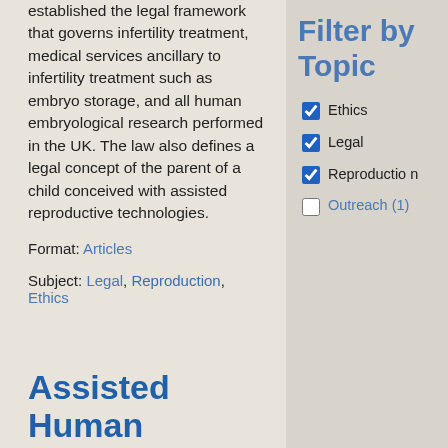established the legal framework that governs infertility treatment, medical services ancillary to infertility treatment such as embryo storage, and all human embryological research performed in the UK. The law also defines a legal concept of the parent of a child conceived with assisted reproductive technologies.
Format: Articles
Subject: Legal, Reproduction, Ethics
Filter by Topic
Ethics (checked)
Legal (checked)
Reproduction (checked)
Outreach (1) (unchecked)
Assisted Human